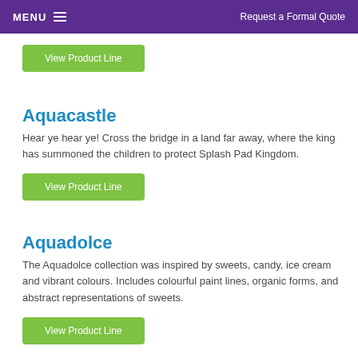MENU   Request a Formal Quote
View Product Line
Aquacastle
Hear ye hear ye! Cross the bridge in a land far away, where the king has summoned the children to protect Splash Pad Kingdom.
View Product Line
Aquadolce
The Aquadolce collection was inspired by sweets, candy, ice cream and vibrant colours. Includes colourful paint lines, organic forms, and abstract representations of sweets.
View Product Line